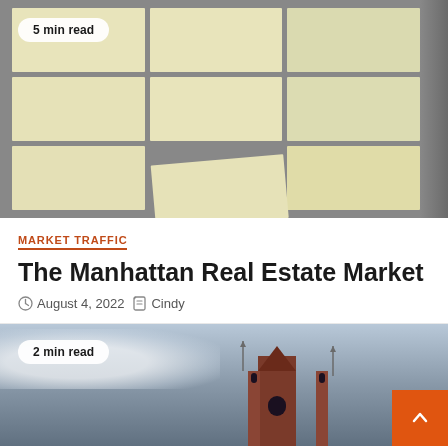[Figure (photo): Overhead view of sticky/post-it notes arranged in a grid on a surface, with a '5 min read' badge overlay]
5 min read
MARKET TRAFFIC
The Manhattan Real Estate Market
August 4, 2022   Cindy
[Figure (photo): Gothic church or cathedral building against a cloudy sky, brick architecture, with a '2 min read' badge and orange scroll-to-top button overlay]